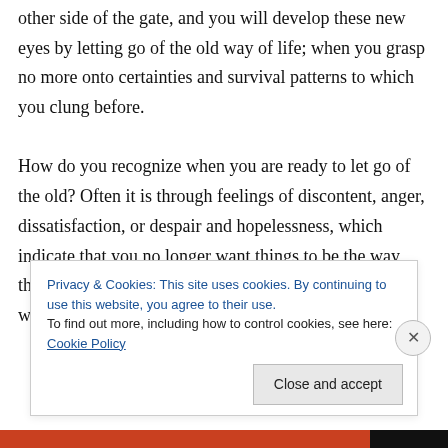other side of the gate, and you will develop these new eyes by letting go of the old way of life; when you grasp no more onto certainties and survival patterns to which you clung before.

How do you recognize when you are ready to let go of the old? Often it is through feelings of discontent, anger, dissatisfaction, or despair and hopelessness, which indicate that you no longer want things to be the way they have been. You could then be thinking: “I don’t want to be here
Privacy & Cookies: This site uses cookies. By continuing to use this website, you agree to their use.
To find out more, including how to control cookies, see here: Cookie Policy